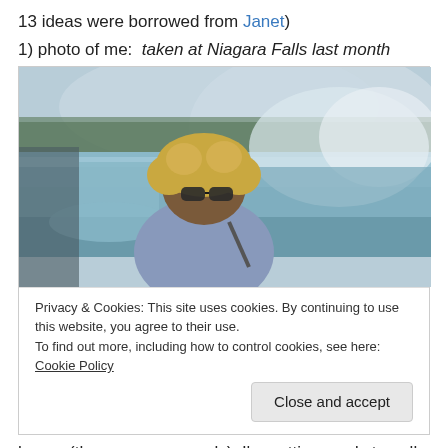13 ideas were borrowed from Janet)
1) photo of me:  taken at Niagara Falls last month
[Figure (photo): A woman with curly hair and sunglasses smiling in front of Niagara Falls with mist in the background.]
Privacy & Cookies: This site uses cookies. By continuing to use this website, you agree to their use.
To find out more, including how to control cookies, see here: Cookie Policy
Close and accept
honey (those are my usuals)  I'm getting ready to pull out